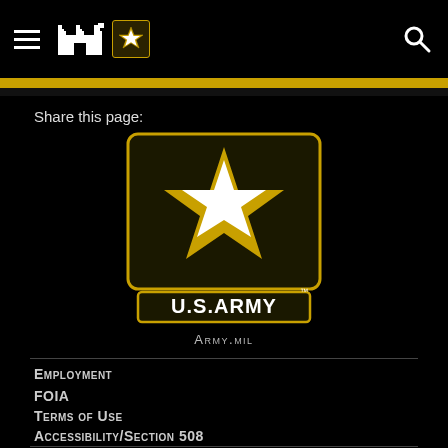U.S. Army navigation bar with hamburger menu, castle icon, Army logo badge, and search icon
Share this page:
[Figure (logo): U.S. Army logo: black rounded square with a gold outlined star (white center) above, and 'U.S.ARMY' text in a gold bordered rectangle below. Small 'cm' trademark symbol top right. Text 'Army.mil' beneath.]
Employment
FOIA
Terms of Use
Accessibility/Section 508
Ready Army